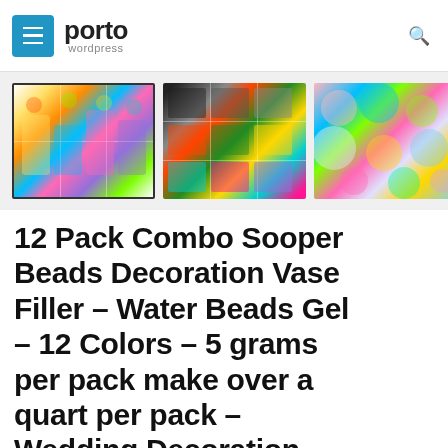porto wordpress
[Figure (photo): Three product thumbnail images showing colorful water beads/gel bead sets in various arrangements and colors]
12 Pack Combo Sooper Beads Decoration Vase Filler – Water Beads Gel – 12 Colors – 5 grams per pack make over a quart per pack – Wedding Decoration Vase Filler – Furniture Decorative Vase Filler – ALMOST 2...